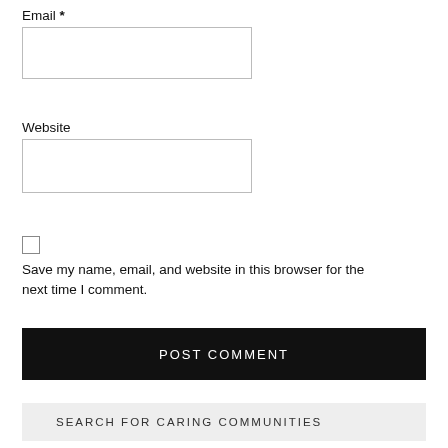Email *
Website
Save my name, email, and website in this browser for the next time I comment.
POST COMMENT
SEARCH FOR CARING COMMUNITIES